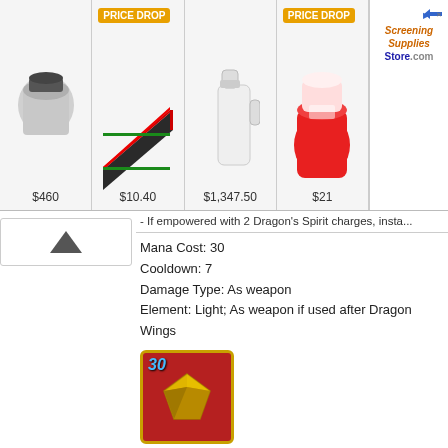[Figure (screenshot): Ad banner with four product cells: jar ($460), green ramp with PRICE DROP ($10.40), white jug ($1,347.50), red drink with PRICE DROP ($21), and a side ad for Screening Supplies Store]
- If empowered with 2 Dragon's Spirit charges, insta...
Mana Cost: 30
Cooldown: 7
Damage Type: As weapon
Element: Light; As weapon if used after Dragon Wings
[Figure (illustration): Red-bordered skill icon with gold gem and mana cost '30' labeled 'Light']
Light
Appearance
[Figure (illustration): Ice Dragon Spirit icons: blue glowing orb and golden dragon emblem]
Ice Dragon Spirit
Chill foe to reduce Boost.
Chill your foe to apply -(50 + [Player's missing HP%] / 3) Boos...
Level/Quest/Skill/Items required: Level 19; 12th completion of...
Effect: 1 hit of 125% damage; applies 'Ice Dragon Spirit' (-50%...